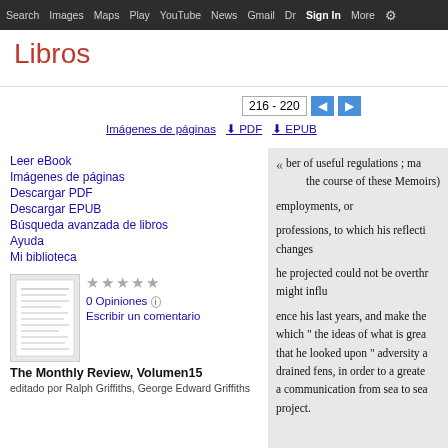Search  Images  Maps  Play  YouTube  News  Gmail  Dr Sign In More ⚙
Libros
216 - 220
Imágenes de páginas  ⬇ PDF  ⬇ EPUB
Leer eBook
Imágenes de páginas
Descargar PDF
Descargar EPUB
Búsqueda avanzada de libros
Ayuda
Mi biblioteca
[Figure (illustration): Thumbnail of book cover for The Monthly Review, Volumen 15]
★★★★★
0 Opiniones ⓘ
Escribir un comentario
The Monthly Review, Volumen15
editado por Ralph Griffiths, George Edward Griffiths
ber of useful regulations ; ma
    the course of these Memoirs)
employments, or

professions, to which his reflecti
changes

he projected could not be overthr
might influ

ence his last years, and make the
which " the ideas of what is grea
that he looked upon " adversity a
drained fens, in order to a greate
a communication from sea to sea
project.